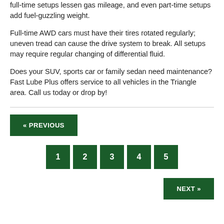full-time setups lessen gas mileage, and even part-time setups add fuel-guzzling weight.
Full-time AWD cars must have their tires rotated regularly; uneven tread can cause the drive system to break. All setups may require regular changing of differential fluid.
Does your SUV, sports car or family sedan need maintenance? Fast Lube Plus offers service to all vehicles in the Triangle area. Call us today or drop by!
« PREVIOUS   1  2  3  4  5   NEXT »